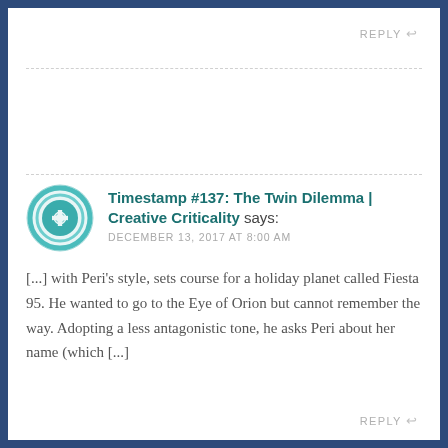REPLY ↩
[Figure (logo): Circular teal logo with concentric rings and a geometric knot pattern in the center, representing the Creative Criticality website avatar]
Timestamp #137: The Twin Dilemma | Creative Criticality says:
DECEMBER 13, 2017 AT 8:00 AM
[...] with Peri's style, sets course for a holiday planet called Fiesta 95. He wanted to go to the Eye of Orion but cannot remember the way. Adopting a less antagonistic tone, he asks Peri about her name (which [...]
REPLY ↩